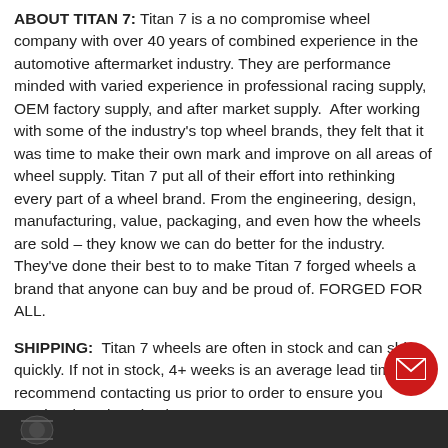ABOUT TITAN 7: Titan 7 is a no compromise wheel company with over 40 years of combined experience in the automotive aftermarket industry. They are performance minded with varied experience in professional racing supply, OEM factory supply, and after market supply. After working with some of the industry's top wheel brands, they felt that it was time to make their own mark and improve on all areas of wheel supply. Titan 7 put all of their effort into rethinking every part of a wheel brand. From the engineering, design, manufacturing, value, packaging, and even how the wheels are sold – they know we can do better for the industry. They've done their best to to make Titan 7 forged wheels a brand that anyone can buy and be proud of. FORGED FOR ALL.
SHIPPING: Titan 7 wheels are often in stock and can ship quickly. If not in stock, 4+ weeks is an average lead time. We recommend contacting us prior to order to ensure you receive them in a timely manner.
[Figure (photo): Dark bottom banner with partial logo/graphic visible at lower left]